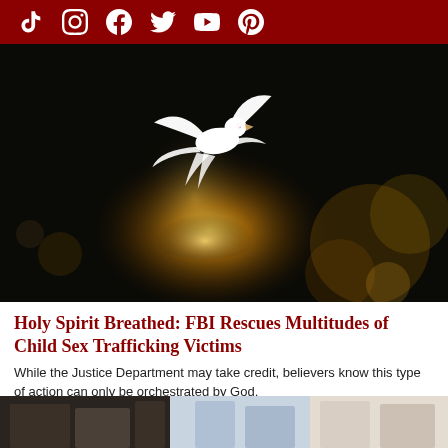Social media icons: TikTok, Instagram, Facebook, Twitter, YouTube, Pinterest
[Figure (photo): White dove flying against a dark background with golden bokeh light burst beneath it]
Holy Spirit Breathed: FBI Rescues Multitudes of Child Sex Trafficking Victims
While the Justice Department may take credit, believers know this type of action can only be orchestrated by God.
2 DAYS AGO
U.S.
[Figure (photo): Partial view of a second article image, showing people in a scene, cropped at the bottom of the page]